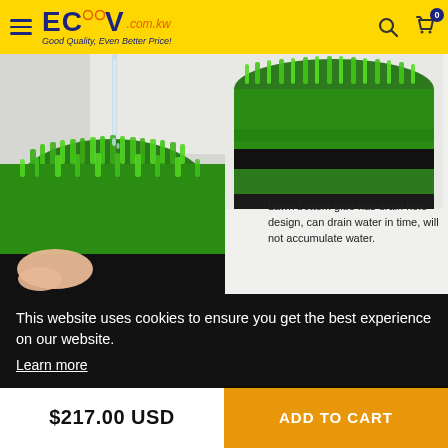ECVV.com.kw — Good Quality, Even Better Price!
[Figure (photo): Two photos of green artificial turf/grass mat: left shows water draining through the mat, right shows a rolled cross-section of the mat revealing green fibers and black backing. Text overlay reads: 'Lawn bottom glue has drain hole design, can drain water in time, will not accumulate water.']
Lawn bottom glue has drain hole design, can drain water in time, will not accumulate water.
This website uses cookies to ensure you get the best experience on our website.
Learn more
1
$217.00 USD
ADD TO CART